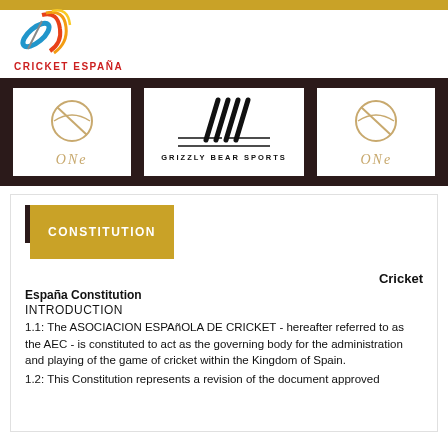[Figure (logo): Cricket España logo with multicolored swoosh and red text CRICKET ESPAÑA]
[Figure (logo): Three sponsor logos on dark brown banner: ONe logo (left), Grizzly Bear Sports logo (center), ONe logo (right)]
CONSTITUTION
Cricket
España Constitution
INTRODUCTION
1.1: The ASOCIACION ESPAñOLA DE CRICKET - hereafter referred to as the AEC - is constituted to act as the governing body for the administration and playing of the game of cricket within the Kingdom of Spain.
1.2: This Constitution represents a revision of the document approved